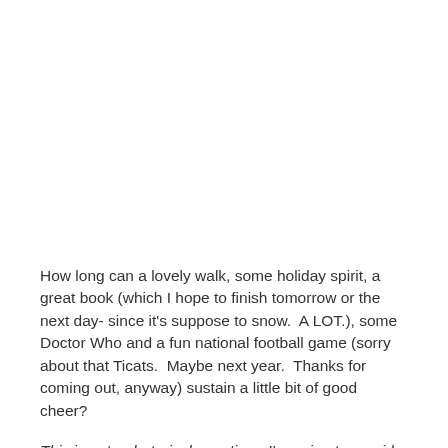How long can a lovely walk, some holiday spirit, a great book (which I hope to finish tomorrow or the next day- since it's suppose to snow.  A LOT.), some Doctor Who and a fun national football game (sorry about that Ticats.  Maybe next year.  Thanks for coming out, anyway) sustain a little bit of good cheer?
This is not a rhetorical question.  I'm going to provide the